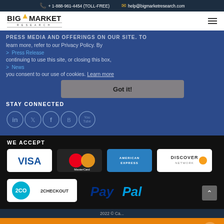+ 1-888-961-4454 (TOLL-FREE)   help@bigmarketresearch.com
[Figure (logo): Big Market Research logo with gold chevron accent]
and offerings on our site. To learn more, refer to our Privacy Policy. By continuing to use this site, or closing this box, you consent to our use of cookies. Learn more
> Press Release
> News
STAY CONNECTED
[Figure (infographic): Got it! button overlay on cookie notice]
[Figure (infographic): Social media icons: LinkedIn, Twitter, Facebook, Blogger, YouTube]
WE ACCEPT
[Figure (infographic): Payment logos: Visa, MasterCard, American Express, Discover]
[Figure (infographic): Payment logos: 2Checkout, PayPal]
2022 © C...
Live Chat now